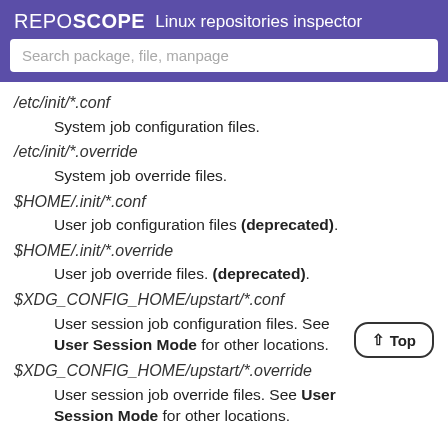REPOSCOPE  Linux repositories inspector
Search package, file, manpage
/etc/init/*.conf
System job configuration files.
/etc/init/*.override
System job override files.
$HOME/.init/*.conf
User job configuration files (deprecated).
$HOME/.init/*.override
User job override files. (deprecated).
$XDG_CONFIG_HOME/upstart/*.conf
User session job configuration files. See User Session Mode for other locations.
$XDG_CONFIG_HOME/upstart/*.override
User session job override files. See User Session Mode for other locations.